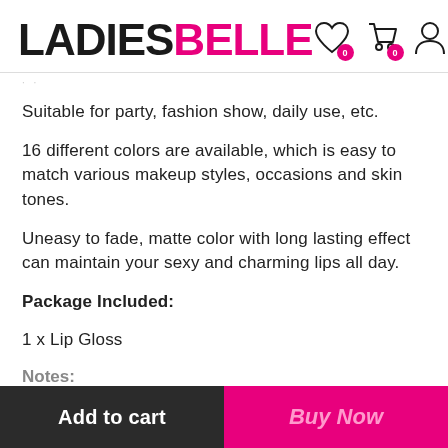LADIESBELLE
Suitable for party, fashion show, daily use, etc.
16 different colors are available, which is easy to match various makeup styles, occasions and skin tones.
Uneasy to fade, matte color with long lasting effect can maintain your sexy and charming lips all day.
Package Included:
1 x Lip Gloss
Notes:
Add to cart   Buy Now